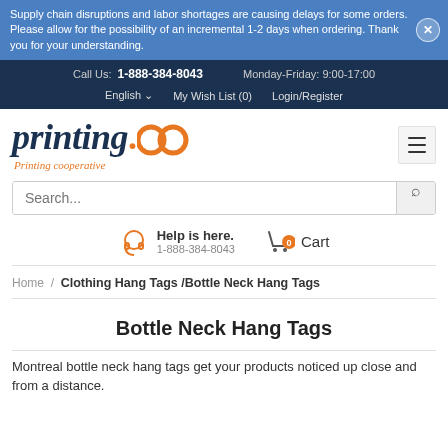Supply chain disruptions and labor shortages are causing delays for some orders. Please allow for the possibility of an incremental 1-2 days when ordering. Thank you for your understanding.
Call Us: 1-888-384-8043   Monday-Friday: 9:00-17:00
English  My Wish List (0)  Login/Register
[Figure (logo): printing.coop logo with orange dot and cooperative symbol, subtitle 'Printing cooperative']
Search...
Help is here. 1-888-384-8043   Cart
Home / Clothing Hang Tags /Bottle Neck Hang Tags
Bottle Neck Hang Tags
Montreal bottle neck hang tags get your products noticed up close and from a distance.